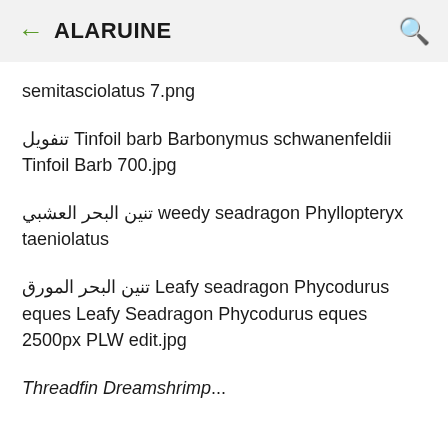ALARUINE
semitasciolatus 7.png
تنفويل Tinfoil barb Barbonymus schwanenfeldii Tinfoil Barb 700.jpg
تنين البحر العشبي weedy seadragon Phyllopteryx taeniolatus
تنين البحر المورق Leafy seadragon Phycodurus eques Leafy Seadragon Phycodurus eques 2500px PLW edit.jpg
Threadfin Dreamshrimp...